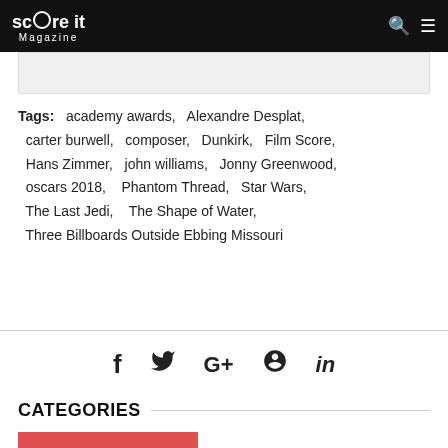Score It Magazine
Tags: academy awards, Alexandre Desplat, carter burwell, composer, Dunkirk, Film Score, Hans Zimmer, john williams, Jonny Greenwood, oscars 2018, Phantom Thread, Star Wars, The Last Jedi, The Shape of Water, Three Billboards Outside Ebbing Missouri
[Figure (other): Social media icons: Facebook, Twitter, Google+, Pinterest, LinkedIn]
CATEGORIES